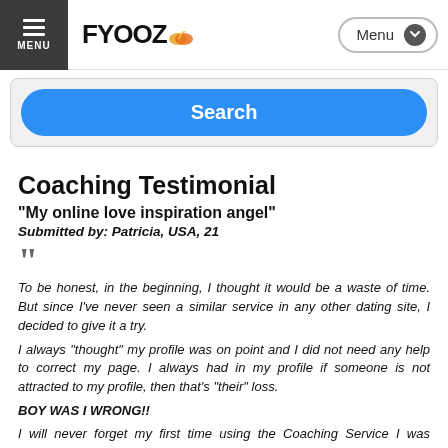MENU | FYOOZ | Menu
[Figure (screenshot): Search button - blue rounded rectangle with white 'Search' text]
Coaching Testimonial
"My online love inspiration angel"
Submitted by: Patricia, USA, 21
To be honest, in the beginning, I thought it would be a waste of time. But since I've never seen a similar service in any other dating site, I decided to give it a try.

I always "thought" my profile was on point and I did not need any help to correct my page. I always had in my profile if someone is not attracted to my profile, then that's "their" loss.

BOY WAS I WRONG!!

I will never forget my first time using the Coaching Service I was introduced to my personal Dating Coach. Let me put it this way, if it was not for her I would have given up long time ago (even though I'm